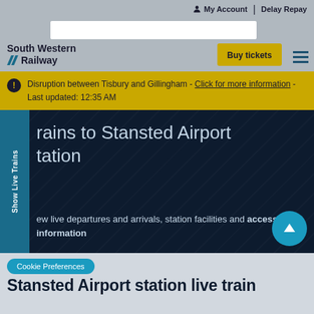My Account | Delay Repay
[Figure (screenshot): South Western Railway website header with logo, search box, Buy tickets button, and hamburger menu]
Disruption between Tisbury and Gillingham - Click for more information - Last updated: 12:35 AM
rains to Stansted Airport tation
ew live departures and arrivals, station facilities and accessibility information
Cookie Preferences
Stansted Airport station live train